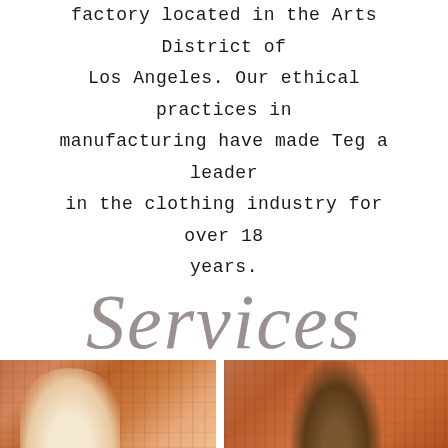factory located in the Arts District of Los Angeles. Our ethical practices in manufacturing have made Teg a leader in the clothing industry for over 18 years.
Services
[Figure (photo): Two people photographed from shoulders up against a brick wall background, partially visible at the bottom of the page]